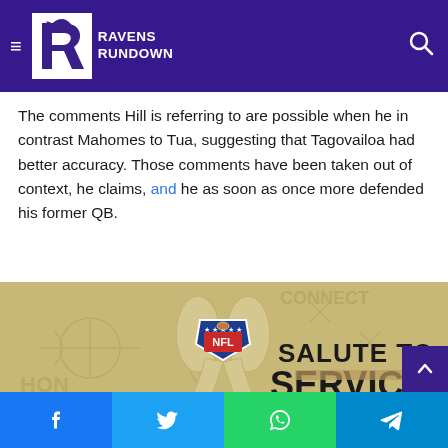Ravens Rundown
crossed a line that we should keep and defend in any respect...
The comments Hill is referring to are possible when he in contrast Mahomes to Tua, suggesting that Tagovailoa had better accuracy. Those comments have been taken out of context, he claims, and he as soon as once more defended his former QB.
[Figure (photo): NFL Salute to Service promotional image with camouflage ribbon, NFL shield logo, and text reading SALUTE TO SERVICE on a tan/military-themed background with football play diagram watermarks.]
Facebook | Twitter | WhatsApp | Telegram social share buttons